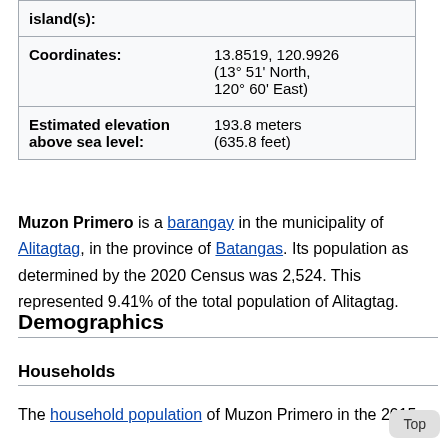| Field | Value |
| --- | --- |
| island(s): |  |
| Coordinates: | 13.8519, 120.9926
(13° 51' North, 120° 60' East) |
| Estimated elevation above sea level: | 193.8 meters
(635.8 feet) |
Muzon Primero is a barangay in the municipality of Alitagtag, in the province of Batangas. Its population as determined by the 2020 Census was 2,524. This represented 9.41% of the total population of Alitagtag.
Demographics
Households
The household population of Muzon Primero in the 2015